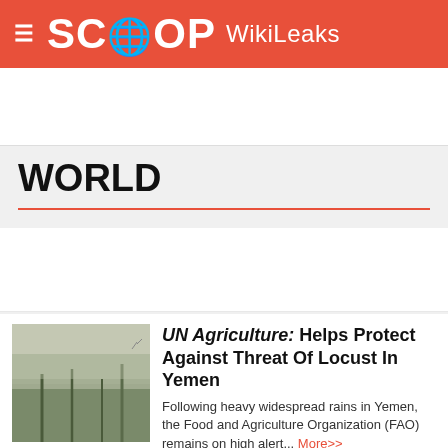SCOOP WikiLeaks
[Figure (other): Advertisement banner placeholder]
WORLD
[Figure (other): Advertisement banner placeholder]
[Figure (photo): Landscape photo showing locust-affected area in Yemen with hazy, smoky sky and trees]
UN Agriculture: Helps Protect Against Threat Of Locust In Yemen
Following heavy widespread rains in Yemen, the Food and Agriculture Organization (FAO) remains on high alert... More>>
[Figure (photo): Portrait photo of Simon Stiell, a bald man, with green/yellow background]
UNFCCC: Simon Stiell Appointed New Executive Secretary